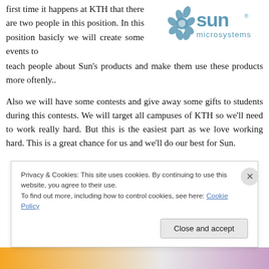first time it happens at KTH that there are two people in this position. In this position basicly we will create some events to teach people about Sun's products and make them use these products more oftenly..
[Figure (logo): Sun Microsystems logo with gear/sun icon and text 'sun microsystems']
Also we will have some contests and give away some gifts to students during this contests. We will target all campuses of KTH so we'll need to work really hard. But this is the easiest part as we love working hard. This is a great chance for us and we'll do our best for Sun.
Privacy & Cookies: This site uses cookies. By continuing to use this website, you agree to their use. To find out more, including how to control cookies, see here: Cookie Policy